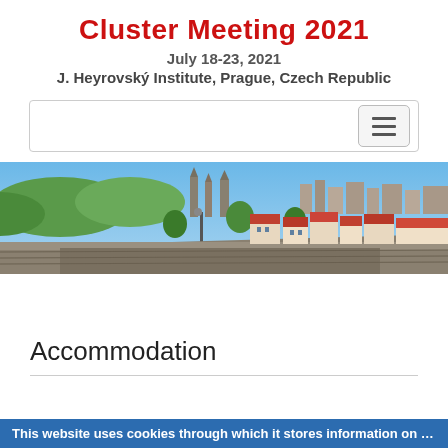Cluster Meeting 2021
July 18-23, 2021
J. Heyrovský Institute, Prague, Czech Republic
[Figure (screenshot): Navigation bar with hamburger menu button on the right]
[Figure (photo): Panoramic photo of Prague cityscape showing Charles Bridge, red-roofed buildings, and Prague Castle on the hill with blue sky and green trees]
Accommodation
This website uses cookies through which it stores information on your